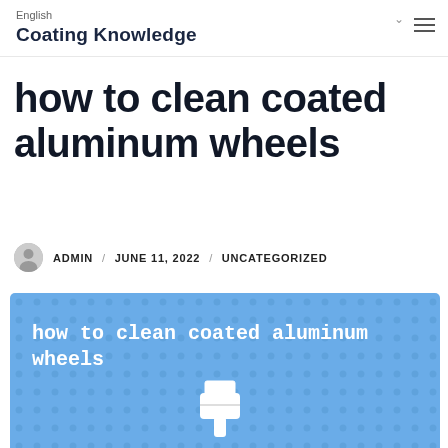English / Coating Knowledge
how to clean coated aluminum wheels
ADMIN / JUNE 11, 2022 / UNCATEGORIZED
[Figure (infographic): Blue dotted background infographic with white bold text reading 'how to clean coated aluminum wheels' and a hand cursor icon at the bottom center]